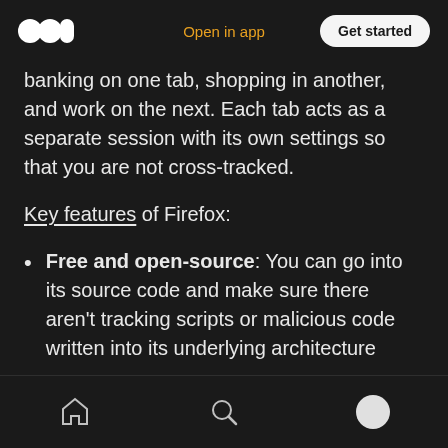Open in app  Get started
banking on one tab, shopping in another, and work on the next. Each tab acts as a separate session with its own settings so that you are not cross-tracked.
Key features of Firefox:
Free and open-source: You can go into its source code and make sure there aren't tracking scripts or malicious code written into its underlying architecture
Content blocking: Removes tracking across all ...
Home  Search  Profile